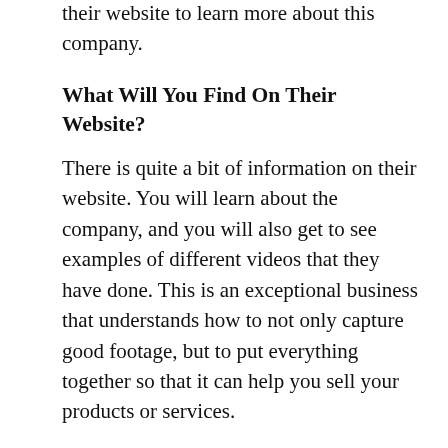their website to learn more about this company.
What Will You Find On Their Website?
There is quite a bit of information on their website. You will learn about the company, and you will also get to see examples of different videos that they have done. This is an exceptional business that understands how to not only capture good footage, but to put everything together so that it can help you sell your products or services.
You should visit https://jmaverickstudios.com/ today if you are interested in moving forward with a video project that has been sitting on the shelf. It could be that you don't have the time, but in most cases, people simply need a professional company to help them out. The prices that they charge, and the speed at which they are